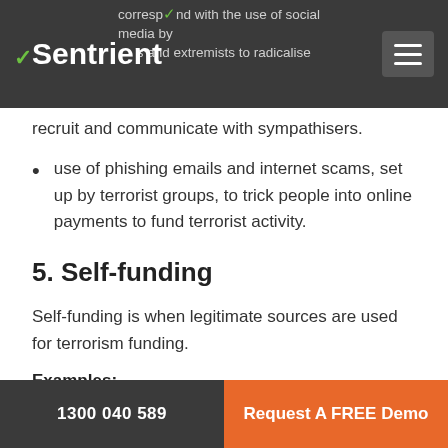Sentrient
correspond with the use of social media by … terrorists and extremists to radicalise, recruit and communicate with sympathisers.
use of phishing emails and internet scams, set up by terrorist groups, to trick people into online payments to fund terrorist activity.
5. Self-funding
Self-funding is when legitimate sources are used for terrorism funding.
Examples:
1300 040 589 | Request A FREE Demo